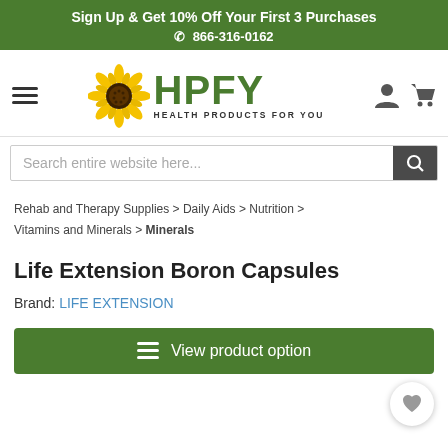Sign Up & Get 10% Off Your First 3 Purchases
📞 866-316-0162
[Figure (logo): HPFY Health Products For You logo with sunflower]
Search entire website here...
Rehab and Therapy Supplies > Daily Aids > Nutrition > Vitamins and Minerals > Minerals
Life Extension Boron Capsules
Brand: LIFE EXTENSION
View product option